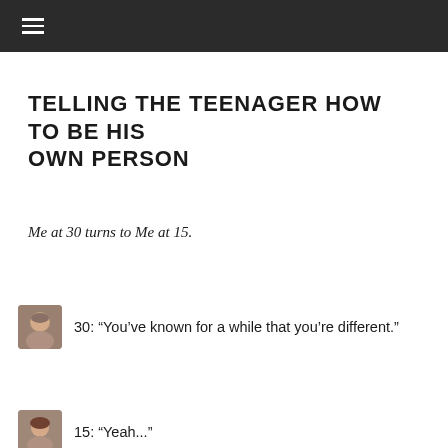≡
TELLING THE TEENAGER HOW TO BE HIS OWN PERSON
Me at 30 turns to Me at 15.
30: “You’ve known for a while that you’re different.”
15: “Yeah...”